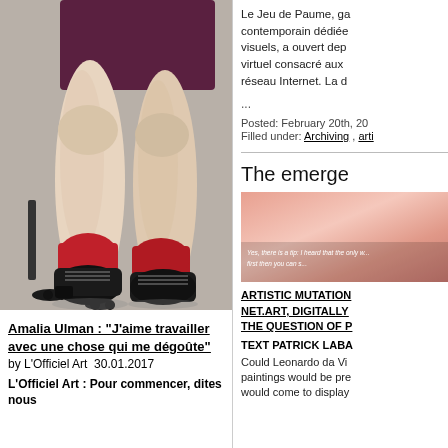[Figure (photo): Close-up photo of a person's bare legs and feet, wearing red socks and black lace-up shoes, seated in a black office chair on gray carpet, with a dark maroon/purple skirt visible at top.]
Amalia Ulman : “J’aime travailler avec une chose qui me dégoûte”
by L’Officiel Art  30.01.2017
L’Officiel Art : Pour commencer, dites nous
Le Jeu de Paume, ga contemporain dédiée visuels, a ouvert dep virtuel consacré aux réseau Internet. La d
...
Posted: February 20th, 20
Filled under: Archiving , arti
The emerge
[Figure (photo): Thumbnail image with pinkish/skin-toned background and white italic text overlay reading: 'Yes, there is a tip: I heard that the only w... first then you can s...']
ARTISTIC MUTATION NET.ART, DIGITALLY THE QUESTION OF P
TEXT PATRICK LABA
Could Leonardo da Vi paintings would be pre would come to display